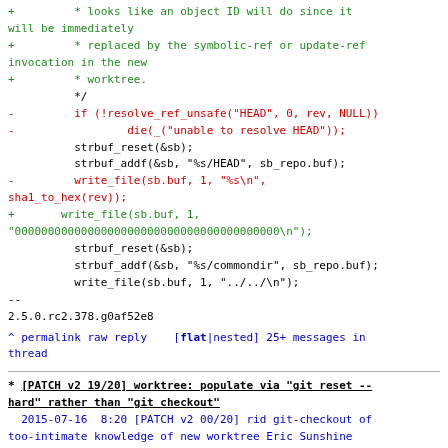+ * looks like an object ID will do since it will be immediately
+ * replaced by the symbolic-ref or update-ref invocation in the new
+ * worktree.
 */
- if (!resolve_ref_unsafe("HEAD", 0, rev, NULL))
- die(_("unable to resolve HEAD"));
 strbuf_reset(&sb);
 strbuf_addf(&sb, "%s/HEAD", sb_repo.buf);
- write_file(sb.buf, 1, "%s\n", sha1_to_hex(rev));
+ write_file(sb.buf, 1, "0000000000000000000000000000000000000000\n");
 strbuf_reset(&sb);
 strbuf_addf(&sb, "%s/commondir", sb_repo.buf);
 write_file(sb.buf, 1, "../../\n");
--
2.5.0.rc2.378.g0af52e8
^ permalink raw reply [flat|nested] 25+ messages in thread
* [PATCH v2 19/20] worktree: populate via "git reset --hard" rather than "git checkout"
2015-07-16 8:20 [PATCH v2 00/20] rid git-checkout of too-intimate knowledge of new worktree Eric Sunshine
(17 preceding siblings ...)
2015-07-16 8:20 [PATCH v2 18/20] worktree: avoid